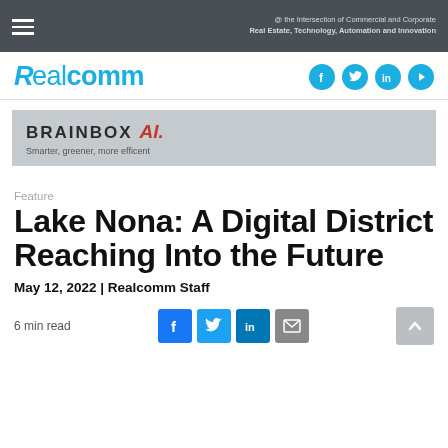@ the Intersection of Commercial and Corporate Real Estate, Technology, Automation and Innovation
[Figure (logo): Realcomm logo in cyan/blue with stylized R]
[Figure (infographic): BrainBox AI advertisement banner - Smarter, greener, more efficent]
Feature
Lake Nona: A Digital District Reaching Into the Future
May 12, 2022 | Realcomm Staff
6 min read